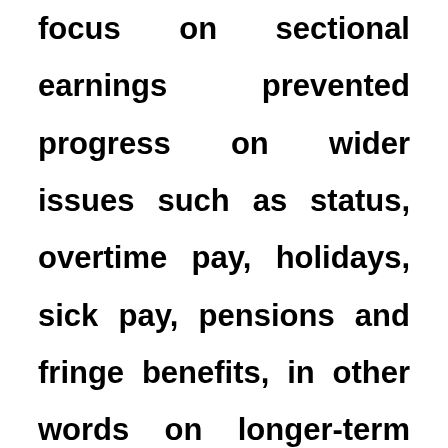Certainly, the unions' near obsessive focus on sectional earnings prevented progress on wider issues such as status, overtime pay, holidays, sick pay, pensions and fringe benefits, in other words on longer-term security for the unionised workforce. In addition, the Coventry Tool Room